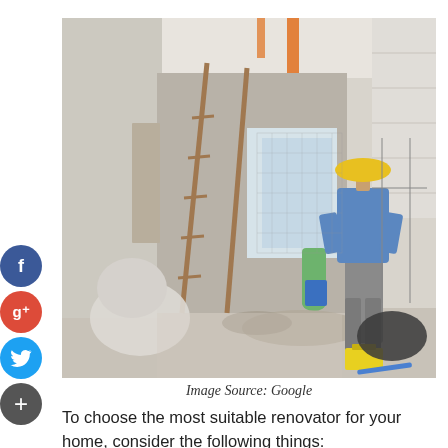[Figure (photo): A construction worker in a blue shirt and yellow hard hat stands with hands on hips, viewed from behind, surveying a home renovation interior. There is a ladder, construction debris, plastic bags, scaffolding, and building materials scattered around the unfinished space.]
Image Source: Google
To choose the most suitable renovator for your home, consider the following things: